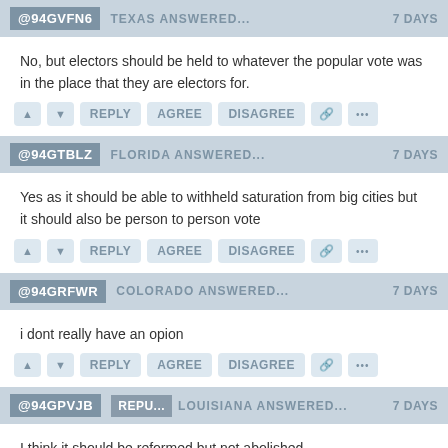@94GVFN6 TEXAS ANSWERED... 7 DAYS
No, but electors should be held to whatever the popular vote was in the place that they are electors for.
@94GTBLZ FLORIDA ANSWERED... 7 DAYS
Yes as it should be able to withheld saturation from big cities but it should also be person to person vote
@94GRFWR COLORADO ANSWERED... 7 DAYS
i dont really have an opion
@94GPVJB REPU... LOUISIANA ANSWERED... 7 DAYS
I think it should be reformed but not abolished.